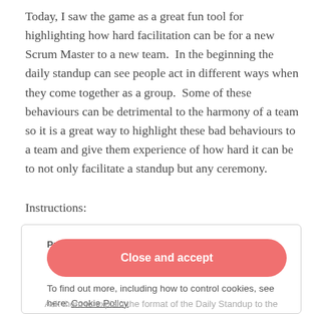Today, I saw the game as a great fun tool for highlighting how hard facilitation can be for a new Scrum Master to a new team.  In the beginning the daily standup can see people act in different ways when they come together as a group.  Some of these behaviours can be detrimental to the harmony of a team so it is a great way to highlight these bad behaviours to a team and give them experience of how hard it can be to not only facilitate a standup but any ceremony.
Instructions:
Privacy & Cookies: This site uses cookies. By continuing to use this website, you agree to their use.
To find out more, including how to control cookies, see here: Cookie Policy
Close and accept
Ask them to explain the format of the Daily Standup to the